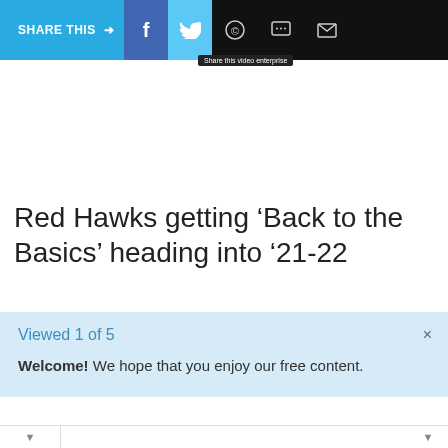SHARE THIS →
Red Hawks getting ‘Back to the Basics’ heading into ‘21-22
Viewed 1 of 5
Welcome! We hope that you enjoy our free content.